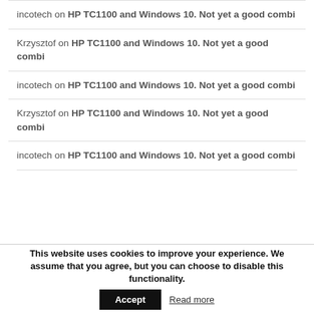incotech on HP TC1100 and Windows 10. Not yet a good combi
Krzysztof on HP TC1100 and Windows 10. Not yet a good combi
incotech on HP TC1100 and Windows 10. Not yet a good combi
Krzysztof on HP TC1100 and Windows 10. Not yet a good combi
incotech on HP TC1100 and Windows 10. Not yet a good combi
This website uses cookies to improve your experience. We assume that you agree, but you can choose to disable this functionality. Accept Read more